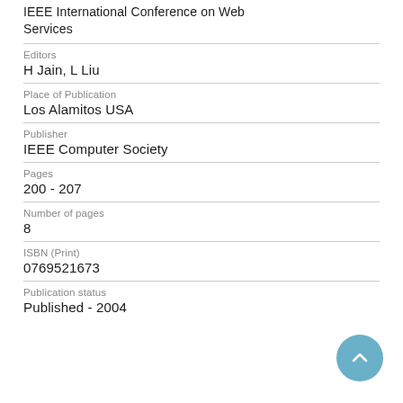IEEE International Conference on Web Services
Editors
H Jain, L Liu
Place of Publication
Los Alamitos USA
Publisher
IEEE Computer Society
Pages
200 - 207
Number of pages
8
ISBN (Print)
0769521673
Publication status
Published - 2004